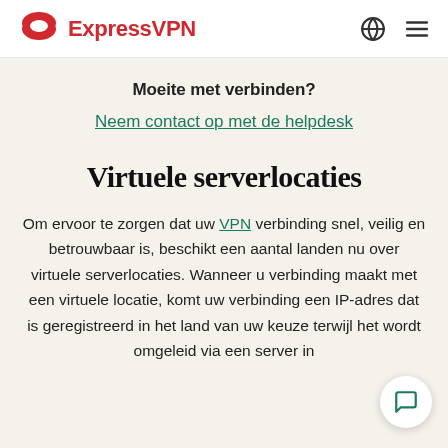ExpressVPN
Moeite met verbinden?
Neem contact op met de helpdesk
Virtuele serverlocaties
Om ervoor te zorgen dat uw VPN verbinding snel, veilig en betrouwbaar is, beschikt een aantal landen nu over virtuele serverlocaties. Wanneer u verbinding maakt met een virtuele locatie, komt uw verbinding een IP-adres dat is geregistreerd in het land van uw keuze terwijl het wordt omgeleid via een server in